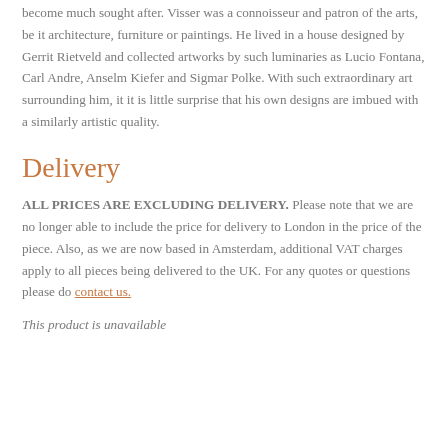become much sought after. Visser was a connoisseur and patron of the arts, be it architecture, furniture or paintings. He lived in a house designed by Gerrit Rietveld and collected artworks by such luminaries as Lucio Fontana, Carl Andre, Anselm Kiefer and Sigmar Polke. With such extraordinary art surrounding him, it it is little surprise that his own designs are imbued with a similarly artistic quality.
Delivery
ALL PRICES ARE EXCLUDING DELIVERY. Please note that we are no longer able to include the price for delivery to London in the price of the piece. Also, as we are now based in Amsterdam, additional VAT charges apply to all pieces being delivered to the UK. For any quotes or questions please do contact us.
This product is unavailable